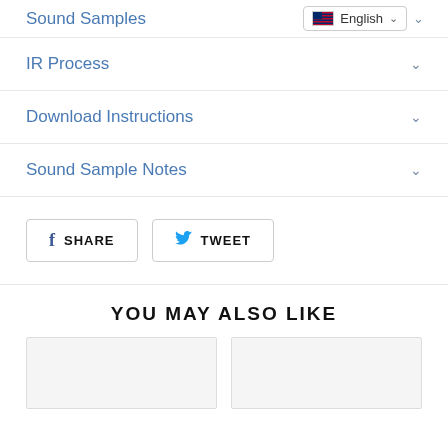Sound Samples
IR Process
Download Instructions
Sound Sample Notes
SHARE
TWEET
YOU MAY ALSO LIKE
[Figure (other): Two product card placeholder images side by side]